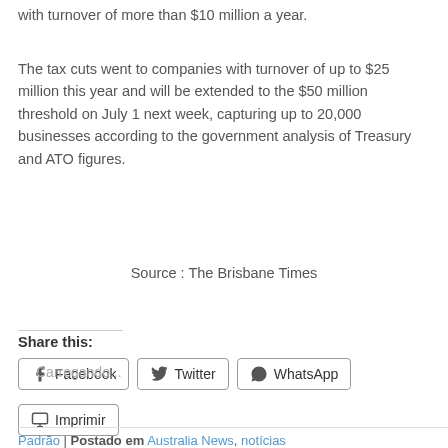with turnover of more than $10 million a year.
The tax cuts went to companies with turnover of up to $25 million this year and will be extended to the $50 million threshold on July 1 next week, capturing up to 20,000 businesses according to the government analysis of Treasury and ATO figures.
Source :  The Brisbane Times
Share this:
Facebook
Twitter
WhatsApp
Imprimir
Carregando...
Padrão | Postado em Australia News, notícias internacionais | Conectar Australia | & Comentário...